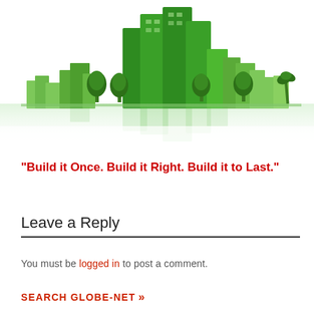[Figure (illustration): Green 3D city skyline with buildings and trees reflecting on a white surface — eco city illustration]
“Build it Once. Build it Right. Build it to Last.”
Leave a Reply
You must be logged in to post a comment.
SEARCH GLOBE-NET »